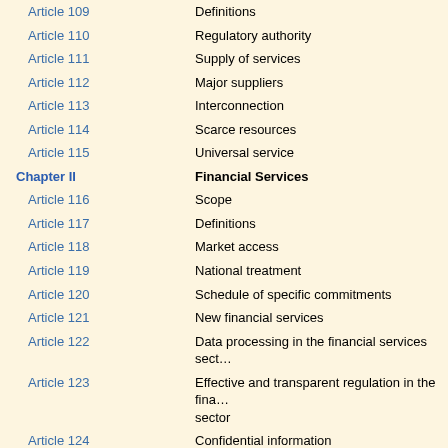| Article/Chapter | Title |
| --- | --- |
| Article 109 | Definitions |
| Article 110 | Regulatory authority |
| Article 111 | Supply of services |
| Article 112 | Major suppliers |
| Article 113 | Interconnection |
| Article 114 | Scarce resources |
| Article 115 | Universal service |
| Chapter II | Financial Services |
| Article 116 | Scope |
| Article 117 | Definitions |
| Article 118 | Market access |
| Article 119 | National treatment |
| Article 120 | Schedule of specific commitments |
| Article 121 | New financial services |
| Article 122 | Data processing in the financial services sector |
| Article 123 | Effective and transparent regulation in the financial services sector |
| Article 124 | Confidential information |
| Article 125 | Prudential carve out |
| Article 126 | Recognition |
| Article 127 | Special Committee on Financial Services |
| Article 128 | Consultations |
| Article 129 | Specific provisions on dispute settlement |
| Chapter III | Establishment |
| Article 130 | Scope |
| Article 131 | Definitions |